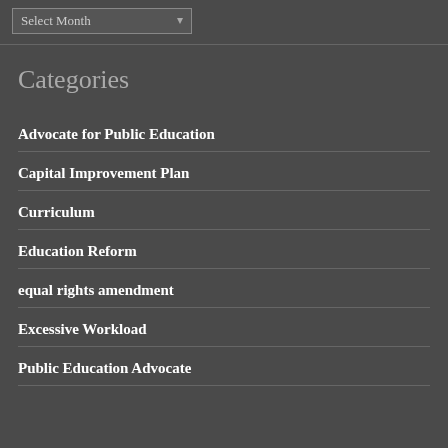Select Month
Categories
Advocate for Public Education
Capital Improvement Plan
Curriculum
Education Reform
equal rights amendment
Excessive Workload
Public Education Advocate